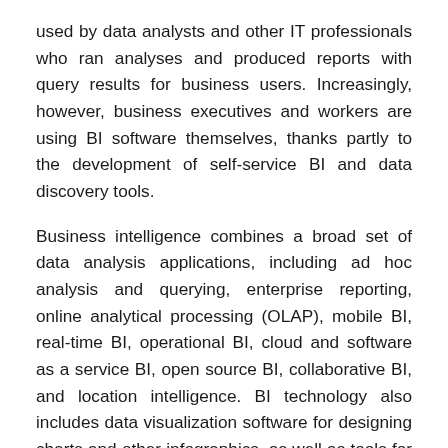used by data analysts and other IT professionals who ran analyses and produced reports with query results for business users.  Increasingly, however, business executives and workers are using BI software themselves, thanks partly to the development of self-service BI and data discovery tools.
Business intelligence combines a broad set of data analysis applications, including ad hoc analysis and querying, enterprise reporting, online analytical processing (OLAP), mobile BI, real-time BI, operational BI, cloud and software as a service BI, open source BI, collaborative BI, and location intelligence.  BI technology also includes data visualization software for designing charts and other infographics, as well as tools for building BI dashboards and performance scorecards that display visualized data